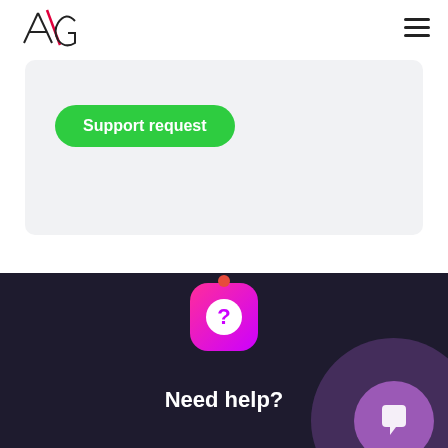[Figure (logo): AG logo with stylized A and G letters, geometric design]
[Figure (illustration): Hamburger menu icon (three horizontal lines) in top right corner]
[Figure (illustration): Light gray rounded card section containing a green Support request button]
Support request
[Figure (illustration): Dark navy footer section with pink/magenta rounded square question mark icon, red notification dot, 'Need help?' text, and a partially visible purple circle with chat bubble icon on the right]
Need help?